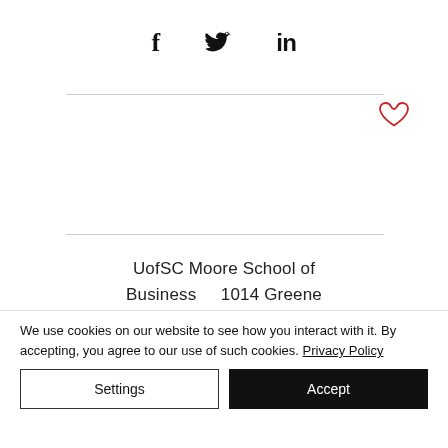[Figure (other): Social media sharing icons: Facebook (f), Twitter (bird), LinkedIn (in)]
[Figure (other): Heart/favorite icon in red outline style]
UofSC Moore School of Business    1014 Greene
We use cookies on our website to see how you interact with it. By accepting, you agree to our use of such cookies. Privacy Policy
Settings
Accept